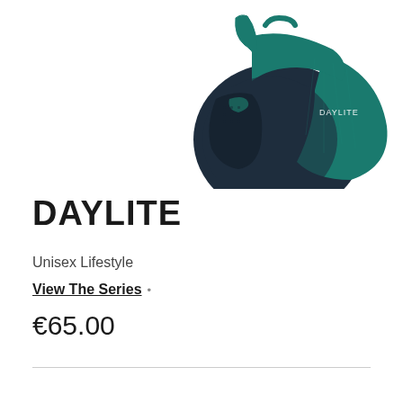[Figure (photo): Osprey Daylite backpack in teal/navy colorway, partial view from front-side angle showing straps and 'DAYLITE' branding on the bag]
DAYLITE
Unisex Lifestyle
View The Series →
€65.00